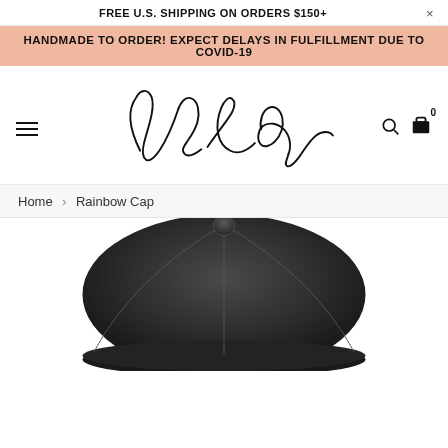FREE U.S. SHIPPING ON ORDERS $150+
HANDMADE TO ORDER! EXPECT DELAYS IN FULFILLMENT DUE TO COVID-19
[Figure (logo): Ana Eros cursive signature logo]
Home › Rainbow Cap
[Figure (photo): Dark charcoal baseball cap viewed from above/front angle]